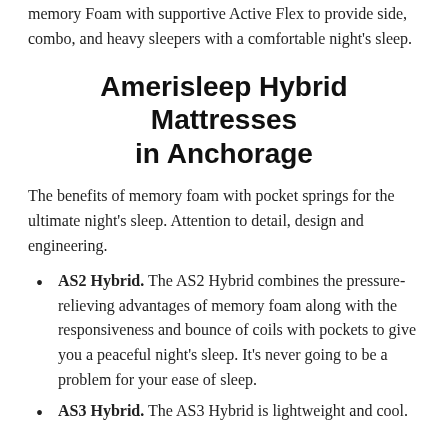memory Foam with supportive Active Flex to provide side, combo, and heavy sleepers with a comfortable night's sleep.
Amerisleep Hybrid Mattresses in Anchorage
The benefits of memory foam with pocket springs for the ultimate night's sleep. Attention to detail, design and engineering.
AS2 Hybrid. The AS2 Hybrid combines the pressure-relieving advantages of memory foam along with the responsiveness and bounce of coils with pockets to give you a peaceful night's sleep. It's never going to be a problem for your ease of sleep.
AS3 Hybrid. The AS3 Hybrid is lightweight and cool.